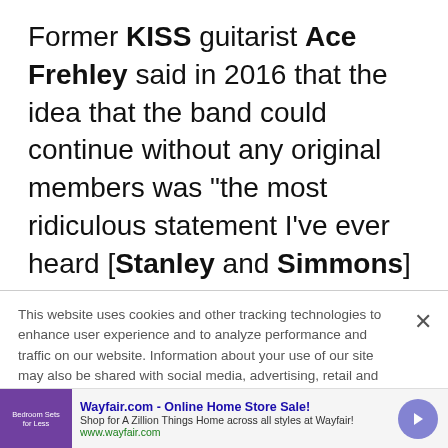Former KISS guitarist Ace Frehley said in 2016 that the idea that the band could continue without any original members was "the most ridiculous statement I've ever heard [Stanley and Simmons] make." He added: "I think the only reason they make those statements at this juncture is to try to validate the fact that they have two other guys in the band that aren't the
This website uses cookies and other tracking technologies to enhance user experience and to analyze performance and traffic on our website. Information about your use of our site may also be shared with social media, advertising, retail and analytics providers and partners. Privacy Policy
[Figure (other): Wayfair.com advertisement banner: Online Home Store Sale! Shop for A Zillion Things Home across all styles at Wayfair! www.wayfair.com]